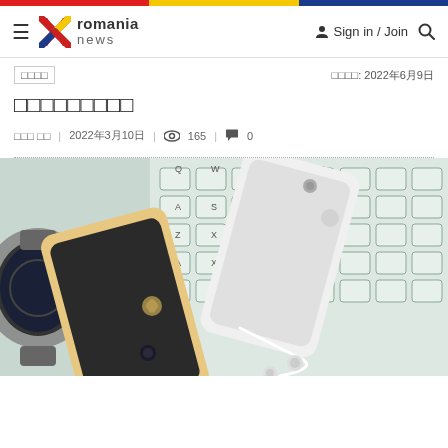Romania News — Sign in / Join
□□□□  □□□□: 2022年6月9日
□□□□□□□□□
□□□ □□  |  2022年3月10日  |  👁 165  |  💬 0
[Figure (photo): Photo of two iPhones on a keyboard with earphones and a watch on a desk, top-down view]